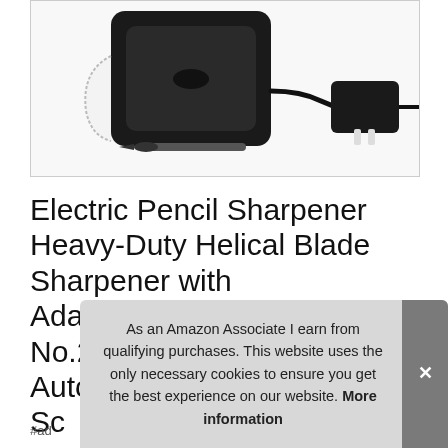[Figure (photo): Electric pencil sharpener product photo showing a black electric pencil sharpener with adapter/power brick and cleaning brush on a white background]
Electric Pencil Sharpener Heavy-Duty Helical Blade Sharpener with Adapter/Battery Operated for No.2/ 6-8mm Pencils with Auto Stop & Cleaning Brush, School...
#ad
As an Amazon Associate I earn from qualifying purchases. This website uses the only necessary cookies to ensure you get the best experience on our website. More information